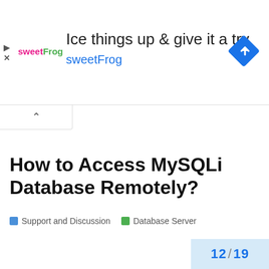[Figure (other): sweetFrog advertisement banner. Shows sweetFrog logo on left, headline 'Ice things up & give it a try' and brand name 'sweetFrog' in blue, with a blue diamond navigation icon on the right. Play and close icons on far left.]
How to Access MySQLi Database Remotely?
Support and Discussion   Database Server
12 / 19